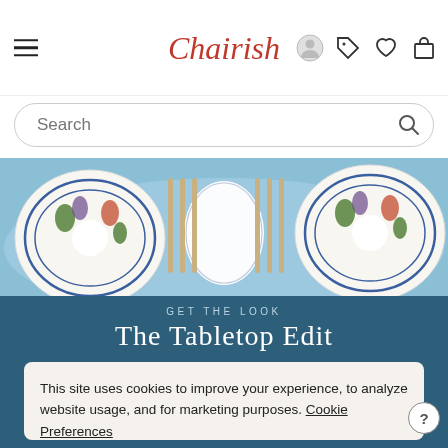[Figure (screenshot): Chairish website navigation bar with hamburger menu, logo, user icon, tag icon, heart icon, and shopping bag icon]
[Figure (screenshot): Search bar with placeholder text 'Search' and magnifying glass icon]
[Figure (photo): Decorative tabletop photo showing ornate blue and white floral plates with gold silverware on a teal tablecloth]
GET THE LOOK
The Tabletop Edit
This site uses cookies to improve your experience, to analyze website usage, and for marketing purposes. Cookie Preferences
OK